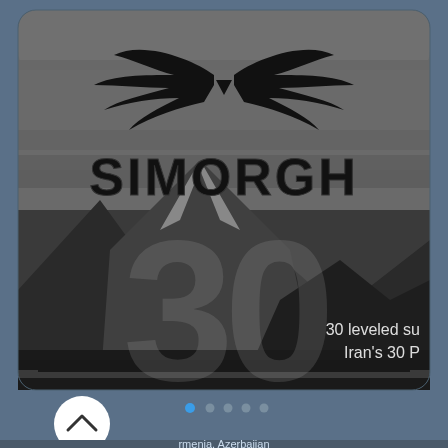[Figure (screenshot): Mobile app screenshot showing SIMORGH logo with wings over a black and white mountain landscape. Large '30' watermark in background. Text in lower right: '30 leveled su' and 'Iran's 30 P'. Below the image are pagination dots (5 dots, first one blue/active). A circular back/up button with chevron is visible in lower left area. Partial text at bottom reads 'rmenia, Azerbaijan']